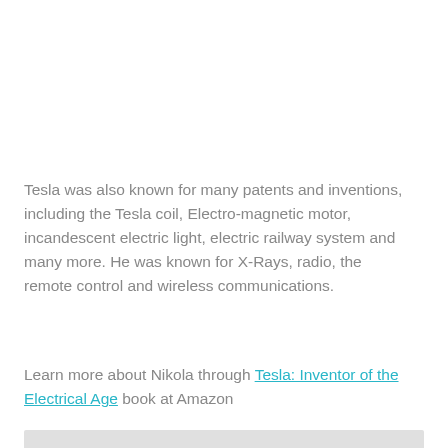Tesla was also known for many patents and inventions, including the Tesla coil, Electro-magnetic motor, incandescent electric light, electric railway system and many more. He was known for X-Rays, radio, the remote control and wireless communications.
Learn more about Nikola through Tesla: Inventor of the Electrical Age book at Amazon